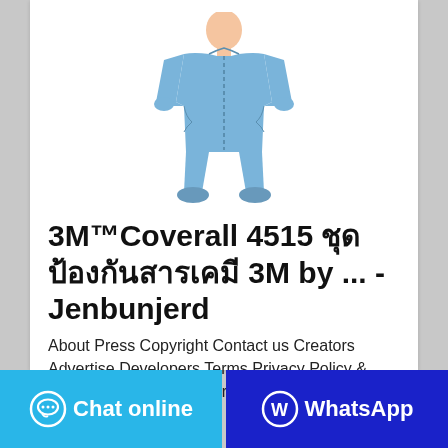[Figure (photo): Person wearing a blue 3M protective coverall suit, full body standing pose]
3M™Coverall 4515 ชุด ป้องกันสารเคมี 3M by ... - Jenbunjerd
About Press Copyright Contact us Creators Advertise Developers Terms Privacy Policy & Safety How YouTube works Test new features Press Copyright Contact us ... Creators
Chat online
WhatsApp